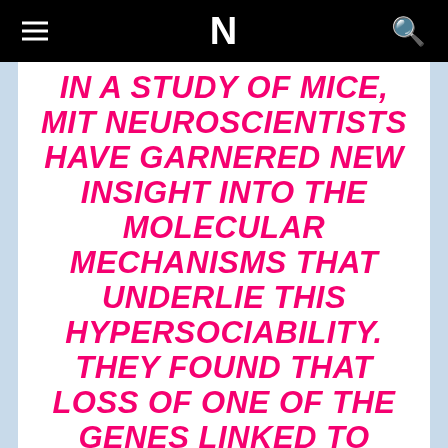N
IN A STUDY OF MICE, MIT NEUROSCIENTISTS HAVE GARNERED NEW INSIGHT INTO THE MOLECULAR MECHANISMS THAT UNDERLIE THIS HYPERSOCIABILITY. THEY FOUND THAT LOSS OF ONE OF THE GENES LINKED TO WILLIAMS SYNDROME LEADS TO A THINNING OF THE FATTY LAYER THAT INSULATES NEURONS AND HELPS THEM CONDUCT ELECTRICAL SIGNALS IN THE BRAIN.